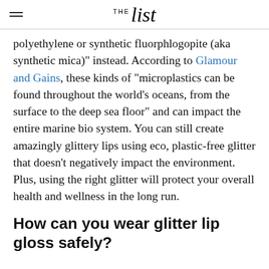THE list
polyethylene or synthetic fluorphlogopite (aka synthetic mica)" instead. According to Glamour and Gains, these kinds of "microplastics can be found throughout the world's oceans, from the surface to the deep sea floor" and can impact the entire marine bio system. You can still create amazingly glittery lips using eco, plastic-free glitter that doesn't negatively impact the environment. Plus, using the right glitter will protect your overall health and wellness in the long run.
How can you wear glitter lip gloss safely?